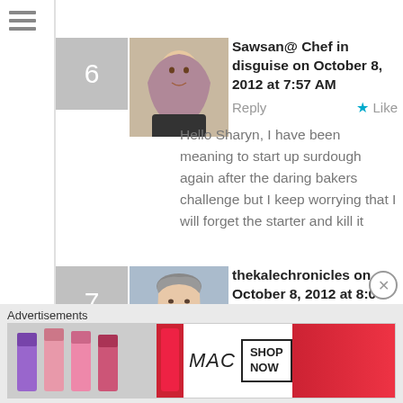[Figure (screenshot): Hamburger menu icon (three horizontal lines)]
Sawsan@ Chef in disguise on October 8, 2012 at 7:57 AM
Reply
Like
Hello Sharyn, I have been meaning to start up surdough again after the daring bakers challenge but I keep worrying that I will forget the starter and kill it
thekalechronicles on October 8, 2012 at 8:06 PM
Like
You can neglect it for awhile, Sawsan, as long as you
Advertisements
[Figure (photo): MAC cosmetics advertisement banner with lipsticks, MAC logo, and SHOP NOW button]